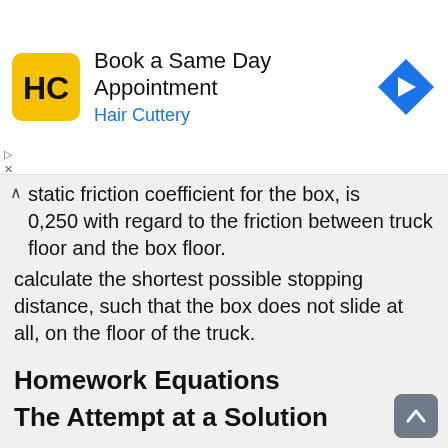[Figure (other): Hair Cuttery advertisement banner with logo, 'Book a Same Day Appointment', and a navigation arrow icon]
static friction coefficient for the box, is 0,250 with regard to the friction between truck floor and the box floor.
calculate the shortest possible stopping distance, such that the box does not slide at all, on the floor of the truck.
Homework Equations
The Attempt at a Solution